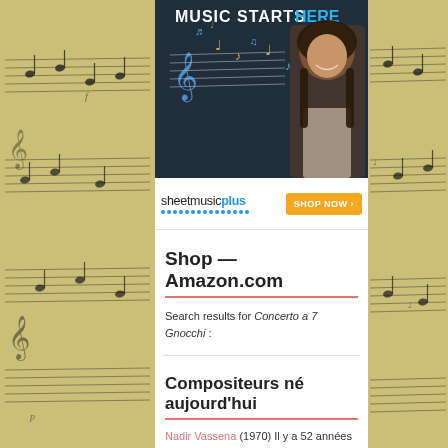[Figure (photo): Sheet music plus advertisement banner showing a young girl smiling in front of a dark chalkboard with music notes and the text 'Music Starts Here' with sheetmusicplus logo and SHOP NOW button]
Shop — Amazon.com
Search results for Concerto a 7 Gnocchi :
Compositeurs né aujourd'hui
Nadir Vassena (1970) Il y a 52 années